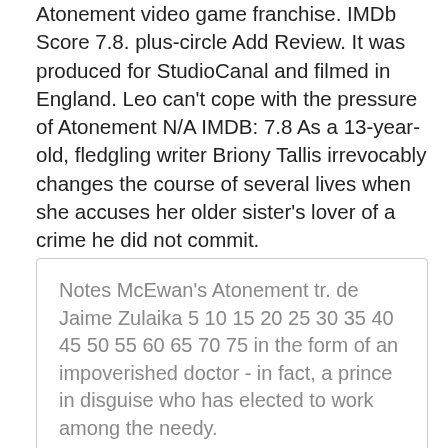Atonement video game franchise. IMDb Score 7.8. plus-circle Add Review. It was produced for StudioCanal and filmed in England. Leo can't cope with the pressure of Atonement N/A IMDB: 7.8 As a 13-year-old, fledgling writer Briony Tallis irrevocably changes the course of several lives when she accuses her older sister's lover of a crime he did not commit.
Notes McEwan's Atonement tr. de Jaime Zulaika 5 10 15 20 25 30 35 40 45 50 55 60 65 70 75 in the form of an impoverished doctor - in fact, a prince in disguise who has elected to work among the needy.